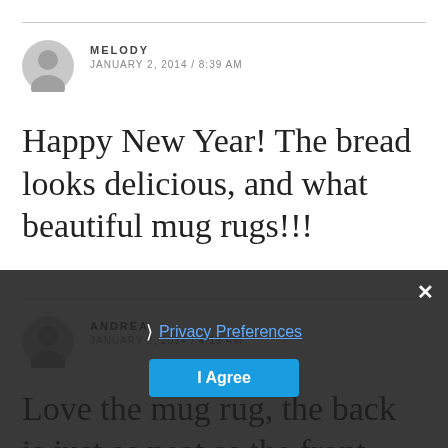MELODY
JANUARY 2, 2014 / 8:39 AM
Happy New Year! The bread looks delicious, and what beautiful mug rugs!!!
ANDREA
JANUARY 2, 2014 / 4:19 AM
Love the mug rug, the back is just as neat as the front. Hope you had your
Privacy Preferences
I Agree